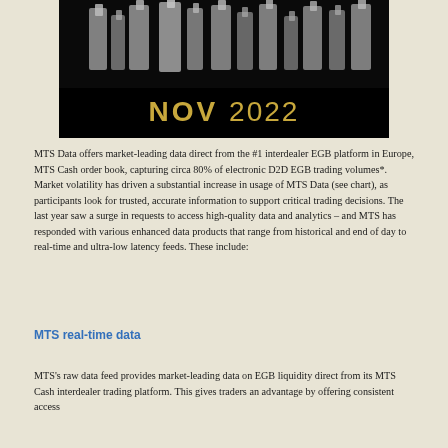[Figure (photo): Black banner with crystal trophy awards on top and 'NOV 2022' text in gold on black background with a gold horizontal line separating the photo from the date text.]
MTS Data offers market-leading data direct from the #1 interdealer EGB platform in Europe, MTS Cash order book, capturing circa 80% of electronic D2D EGB trading volumes*. Market volatility has driven a substantial increase in usage of MTS Data (see chart), as participants look for trusted, accurate information to support critical trading decisions. The last year saw a surge in requests to access high-quality data and analytics – and MTS has responded with various enhanced data products that range from historical and end of day to real-time and ultra-low latency feeds. These include:
MTS real-time data
MTS's raw data feed provides market-leading data on EGB liquidity direct from its MTS Cash interdealer trading platform. This gives traders an advantage by offering consistent access